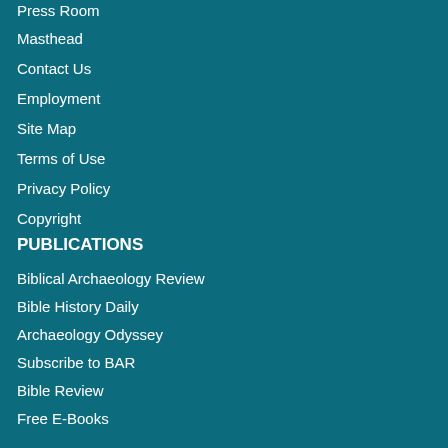Press Room
Masthead
Contact Us
Employment
Site Map
Terms of Use
Privacy Policy
Copyright
PUBLICATIONS
Biblical Archaeology Review
Bible History Daily
Archaeology Odyssey
Subscribe to BAR
Bible Review
Free E-Books
Give a gift subscription
Manage your subscription
BIBLICAL ARCHAEOLOGY SOCIETY NETWORK LINKS